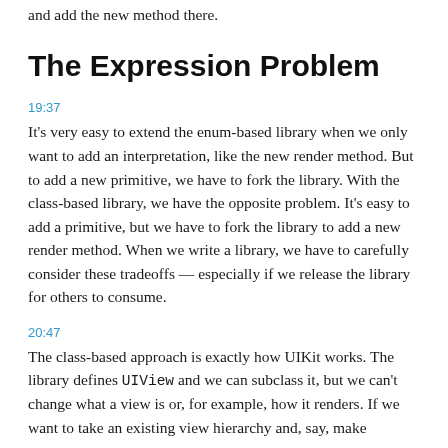and add the new method there.
The Expression Problem
19:37
It's very easy to extend the enum-based library when we only want to add an interpretation, like the new render method. But to add a new primitive, we have to fork the library. With the class-based library, we have the opposite problem. It's easy to add a primitive, but we have to fork the library to add a new render method. When we write a library, we have to carefully consider these tradeoffs — especially if we release the library for others to consume.
20:47
The class-based approach is exactly how UIKit works. The library defines UIView and we can subclass it, but we can't change what a view is or, for example, how it renders. If we want to take an existing view hierarchy and, say, make